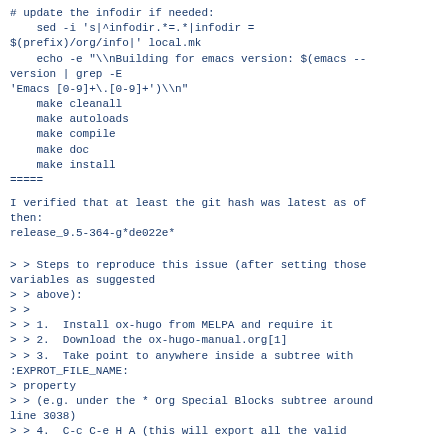# update the infodir if needed:
    sed -i 's|^infodir.*=.*|infodir = $(prefix)/org/info|' local.mk
    echo -e "\\nBuilding for emacs version: $(emacs --version | grep -E 'Emacs [0-9]+\.[0-9]+')\\n"
    make cleanall
    make autoloads
    make compile
    make doc
    make install
=====
I verified that at least the git hash was latest as of then:
release_9.5-364-g*de022e*
> > Steps to reproduce this issue (after setting those variables as suggested
> > above):
> >
> > 1.  Install ox-hugo from MELPA and require it
> > 2.  Download the ox-hugo-manual.org[1]
> > 3.  Take point to anywhere inside a subtree with :EXPROT_FILE_NAME:
> property
> > (e.g. under the * Org Special Blocks subtree around line 3038)
> > 4.  C-c C-e H A (this will export all the valid